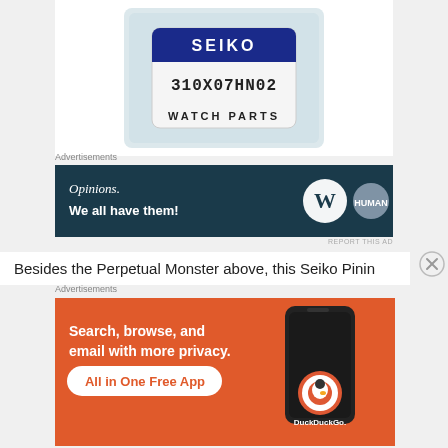[Figure (photo): Seiko watch parts package in plastic bag, label reads SEIKO 310X07HN02 WATCH PARTS]
Advertisements
[Figure (other): Dark teal advertisement banner: 'Opinions. We all have them!' with WordPress and HumanMade logos]
REPORT THIS AD
Besides the Perpetual Monster above, this Seiko Pinin
Advertisements
[Figure (other): Orange DuckDuckGo advertisement: 'Search, browse, and email with more privacy. All in One Free App' with phone illustration and DuckDuckGo logo]
REPORT THIS AD